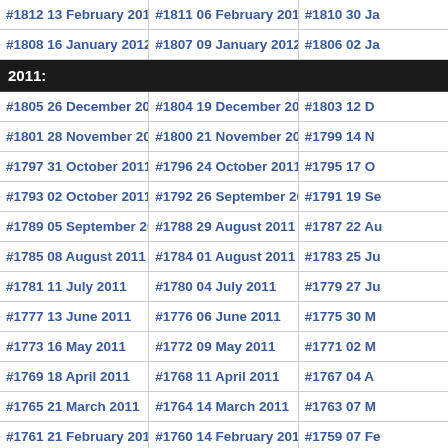#1812 13 February 2012  #1811 06 February 2012  #1810 30 Ja
#1808 16 January 2012  #1807 09 January 2012  #1806 02 Ja
2011:
#1805 26 December 2011  #1804 19 December 2011  #1803 12 D
#1801 28 November 2011  #1800 21 November 2011  #1799 14 N
#1797 31 October 2011  #1796 24 October 2011  #1795 17 O
#1793 02 October 2011  #1792 26 September 2011  #1791 19 Se
#1789 05 September 2011  #1788 29 August 2011  #1787 22 Au
#1785 08 August 2011  #1784 01 August 2011  #1783 25 Ju
#1781 11 July 2011  #1780 04 July 2011  #1779 27 Ju
#1777 13 June 2011  #1776 06 June 2011  #1775 30 M
#1773 16 May 2011  #1772 09 May 2011  #1771 02 M
#1769 18 April 2011  #1768 11 April 2011  #1767 04 A
#1765 21 March 2011  #1764 14 March 2011  #1763 07 M
#1761 21 February 2011  #1760 14 February 2011  #1759 07 Fe
#1757 24 January 2011  #1756 17 January 2011  #1755 10 Ja
2010: